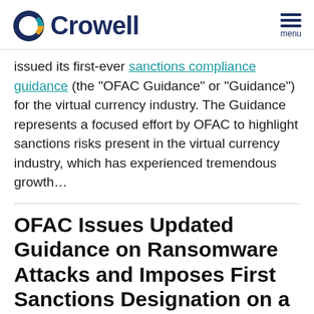Crowell
issued its first-ever sanctions compliance guidance (the “OFAC Guidance” or “Guidance”) for the virtual currency industry. The Guidance represents a focused effort by OFAC to highlight sanctions risks present in the virtual currency industry, which has experienced tremendous growth…
OFAC Issues Updated Guidance on Ransomware Attacks and Imposes First Sanctions Designation on a Virtual Currency Exch…